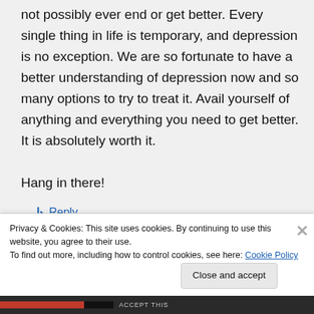not possibly ever end or get better. Every single thing in life is temporary, and depression is no exception. We are so fortunate to have a better understanding of depression now and so many options to try to treat it. Avail yourself of anything and everything you need to get better. It is absolutely worth it.

Hang in there!
↳ Reply
Privacy & Cookies: This site uses cookies. By continuing to use this website, you agree to their use.
To find out more, including how to control cookies, see here: Cookie Policy
Close and accept